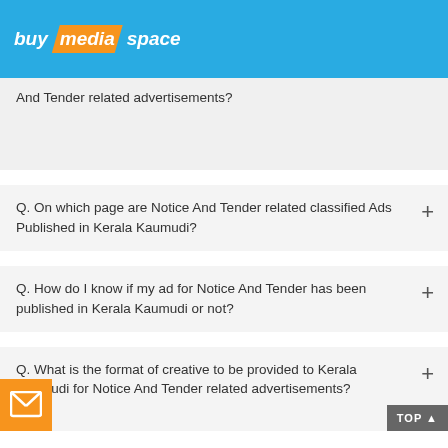buymediaspace
And Tender related advertisements?
Q. On which page are Notice And Tender related classified Ads Published in Kerala Kaumudi?
Q. How do I know if my ad for Notice And Tender has been published in Kerala Kaumudi or not?
Q. What is the format of creative to be provided to Kerala Kaumudi for Notice And Tender related advertisements?
Q. What are the documents required to publish Notice And Tender advertisements in Kerala Kaumudi ?